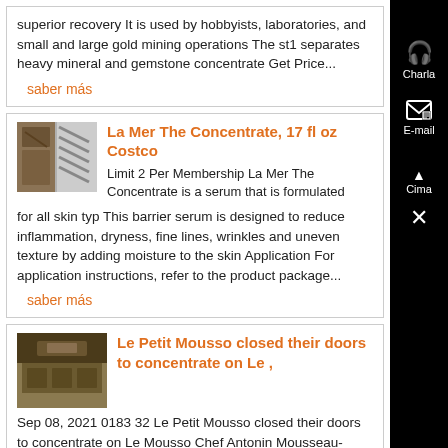superior recovery It is used by hobbyists, laboratories, and small and large gold mining operations The st1 separates heavy mineral and gemstone concentrate Get Price...
saber más
La Mer The Concentrate, 17 fl oz Costco
[Figure (photo): Thumbnail image of mining/concentrate equipment]
Limit 2 Per Membership La Mer The Concentrate is a serum that is formulated for all skin typ This barrier serum is designed to reduce inflammation, dryness, fine lines, wrinkles and uneven texture by adding moisture to the skin Application For application instructions, refer to the product package...
saber más
Le Petit Mousso closed their doors to concentrate on Le ,
[Figure (photo): Thumbnail image of a restaurant interior]
Sep 08, 2021 0183 32 Le Petit Mousso closed their doors to concentrate on Le Mousso Chef Antonin Mousseau-Rivard announced early